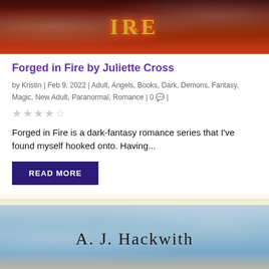[Figure (photo): Book cover top portion of 'Forged in Fire' — dark red/crimson background with gold ornate lettering showing 'IRE' (partial title), decorative gold scrollwork]
Forged in Fire by Juliette Cross
by Kristin | Feb 9, 2022 | Adult, Angels, Books, Dark, Demons, Fantasy, Magic, New Adult, Paranormal, Romance | 0 💬 |
★★★★☆
Forged in Fire is a dark-fantasy romance series that I've found myself hooked onto. Having...
READ MORE
[Figure (photo): Book cover bottom portion showing 'A. J. Hackwith' in serif font over a light blue/icy frosted background with crystalline texture]